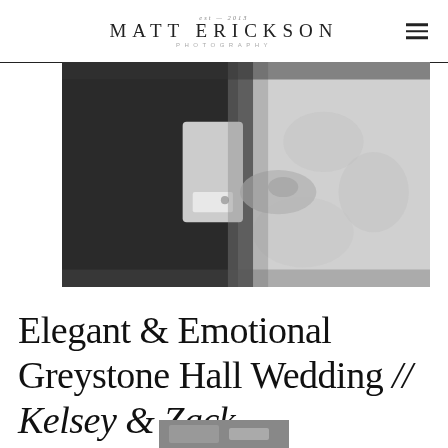EST — 2013 MATT ERICKSON PHOTOGRAPHY
[Figure (photo): Black and white close-up photo of a groom in a dark suit with white cufflinks embracing a bride in a white lace dress, showing their torsos and hands.]
Elegant & Emotional Greystone Hall Wedding // Kelsey & Zack
[Figure (photo): Partial view of another wedding photo at the bottom of the page, partially cropped.]